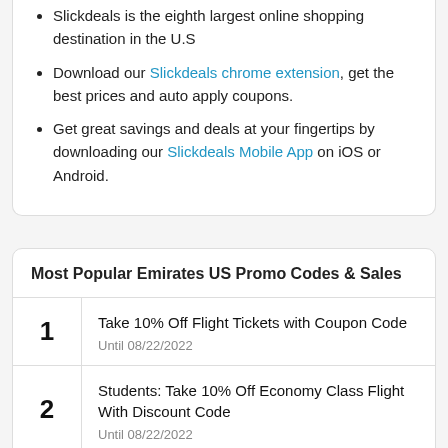Slickdeals is the eighth largest online shopping destination in the U.S
Download our Slickdeals chrome extension, get the best prices and auto apply coupons.
Get great savings and deals at your fingertips by downloading our Slickdeals Mobile App on iOS or Android.
| # | Deal |
| --- | --- |
| 1 | Take 10% Off Flight Tickets with Coupon Code
Until 08/22/2022 |
| 2 | Students: Take 10% Off Economy Class Flight With Discount Code
Until 08/22/2022 |
| 3 | Students: Take 10% Off Business Class Flight With... |